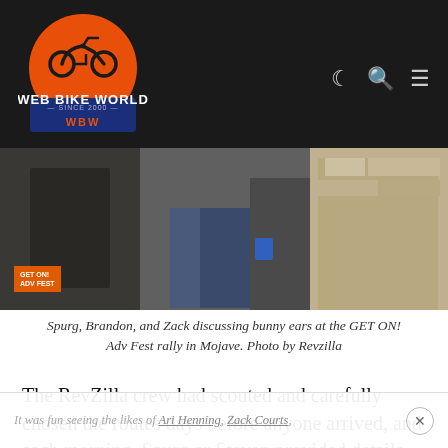[Figure (logo): Web Bike World logo — orange circle with motorcycle silhouette, blue banner with 'WEB BIKE WORLD SINCE 2000 WBW' text. Navigation icons (moon, search, hamburger menu) on the right side on dark background.]
[Figure (photo): Photo of three people (Spurg, Brandon, and Zack) from the waist down, wearing motorcycle gear/jackets, at the GET ON! Adv Fest rally in Mojave. A red GET ON! badge is visible in the lower-left corner.]
Spurg, Brandon, and Zack discussing bunny ears at the GET ON! Adv Fest rally in Mojave. Photo by Revzilla
The RevZilla crew had scouted and carefully chosen the routes days before anyone arrived, and each morning, Spurg or Stevan provided details about what participants might encounter. Then different members of the RZ team would even lead groups out to the trails
It was fun seeing the likes of Ari Henning, Zack Courts, Spurg, Brandon, Winn, ...